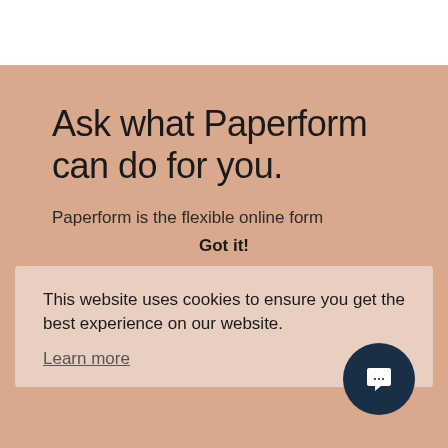Ask what Paperform can do for you.
Paperform is the flexible online form
Got it!
This website uses cookies to ensure you get the best experience on our website.
Learn more
look amazing and help you achieve amazing